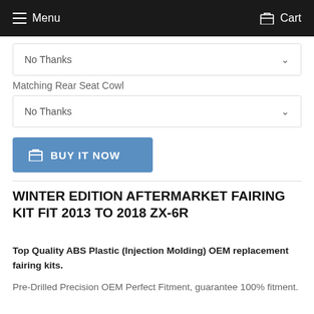Menu  Cart
No Thanks
Matching Rear Seat Cowl
No Thanks
BUY IT NOW
WINTER EDITION AFTERMARKET FAIRING KIT FIT 2013 TO 2018 ZX-6R
Top Quality ABS Plastic (Injection Molding) OEM replacement fairing kits.
Pre-Drilled Precision OEM Perfect Fitment, guarantee 100% fitment.